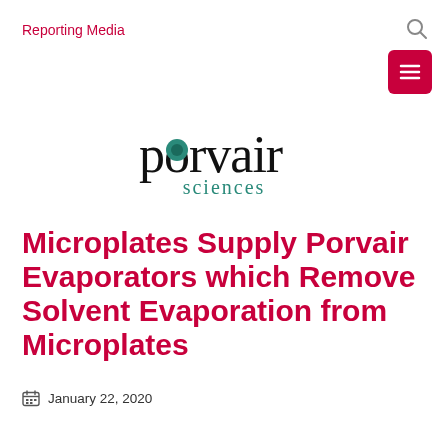Reporting Media
[Figure (logo): Porvair Sciences logo — 'porvair' in large black lowercase serif text with a teal circle dot over the 'o', and 'sciences' in smaller teal text below]
Microplates Supply Porvair Evaporators which Remove Solvent Evaporation from Microplates
January 22, 2020